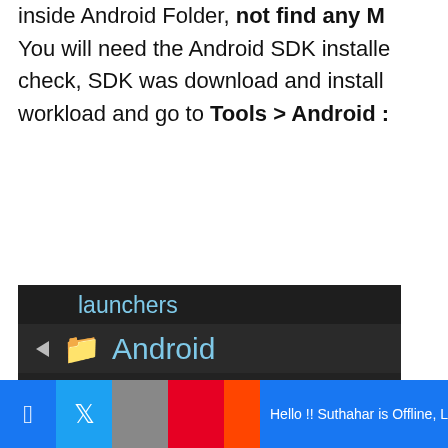inside Android Folder, not find any M You will need the Android SDK installe check, SDK was download and install workload and go to Tools > Android :
[Figure (screenshot): Screenshot of a Visual Studio solution explorer showing Android folder expanded with Resources subfolder and an Android file item, and partially visible iOS folder at the bottom. Dark theme.]
Try to click on Run Icon, if you are get
Hello !! Suthahar is Offline, Leave a message